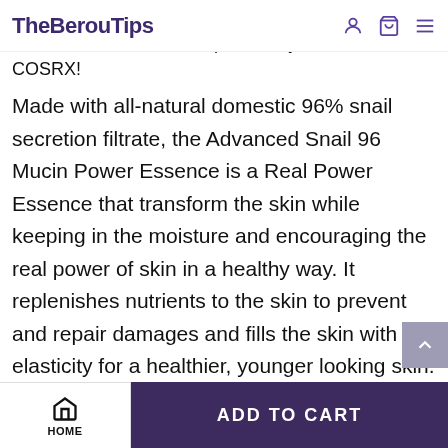TheBerouTips
imttants Replenish nutrients and elasticity to your skin and recover the real power to your skin with COSRX!
Made with all-natural domestic 96% snail secretion filtrate, the Advanced Snail 96 Mucin Power Essence is a Real Power Essence that transform the skin while keeping in the moisture and encouraging the real power of skin in a healthy way. It replenishes nutrients to the skin to prevent and repair damages and fills the skin with elasticity for a healthier, younger looking skin.
HOME | ADD TO CART